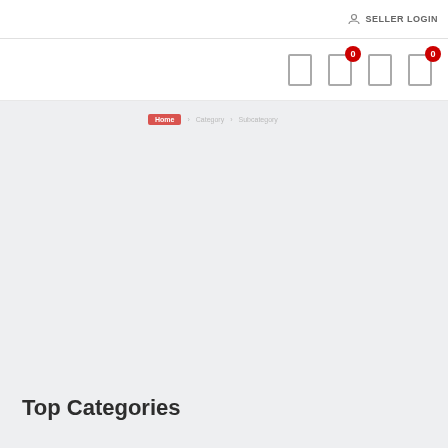SELLER LOGIN
[Figure (screenshot): Navigation bar with four icon buttons, two with red badge showing '0']
Home
Top Categories